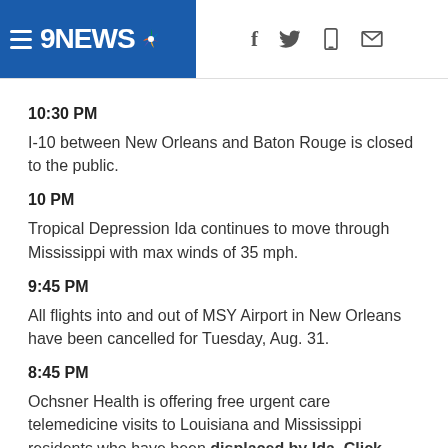[Figure (logo): 9NEWS NBC affiliate logo with hamburger menu icon on blue background, with social media icons (Facebook, Twitter, phone, email) to the right]
10:30 PM
I-10 between New Orleans and Baton Rouge is closed to the public.
10 PM
Tropical Depression Ida continues to move through Mississippi with max winds of 35 mph.
9:45 PM
All flights into and out of MSY Airport in New Orleans have been cancelled for Tuesday, Aug. 31.
8:45 PM
Ochsner Health is offering free urgent care telemedicine visits to Louisiana and Mississippi residents who have been displaced by Ida. Click here for details.